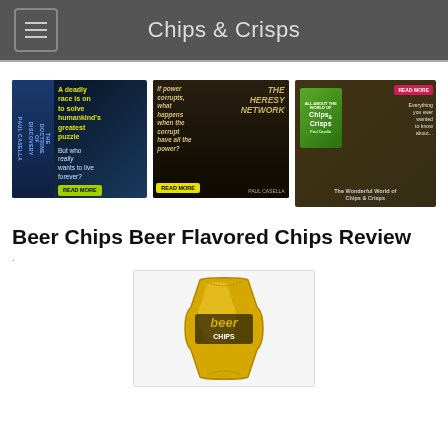Chips & Crisps
[Figure (illustration): Three promotional banner images: (1) 'The Doctrine of Discovery' book by Paul Casella with text 'A deadly race is on to solve humankind's greatest puzzle But who really wants to live forever?' and a READ MORE button; (2) 'The Heresy Network' by Paul Casella with cathedral background and text 'If power corrupts, what happens when the corrupt have all the power?' and a READ MORE button; (3) Chips & Crisps book with text 'Everything you ever wanted to know about... The Wonderful World of Chips & Crisps' and a READ MORE button.]
Beer Chips Beer Flavored Chips Review
.
[Figure (photo): A gold/yellow bag of Beer Chips beer-flavored chips on a white background.]